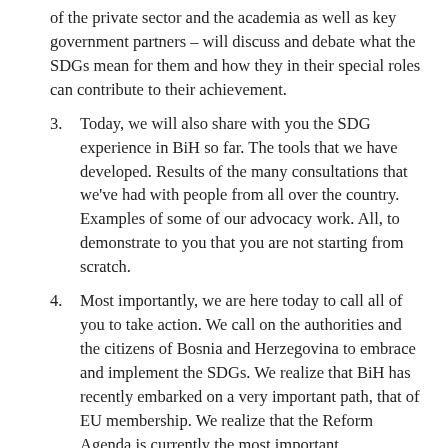of the private sector and the academia as well as key government partners – will discuss and debate what the SDGs mean for them and how they in their special roles can contribute to their achievement.
3. Today, we will also share with you the SDG experience in BiH so far. The tools that we have developed. Results of the many consultations that we've had with people from all over the country. Examples of some of our advocacy work. All, to demonstrate to you that you are not starting from scratch.
4. Most importantly, we are here today to call all of you to take action. We call on the authorities and the citizens of Bosnia and Herzegovina to embrace and implement the SDGs. We realize that BiH has recently embarked on a very important path, that of EU membership. We realize that the Reform Agenda is currently the most important transformative agenda for the country. The SDGs are all inclusive. We have no doubt that they will not only complement the Reform Agenda and the EU Accession process but will also strengthen them.
Let me end by thanking Mr. Ivanic, for the very clear and